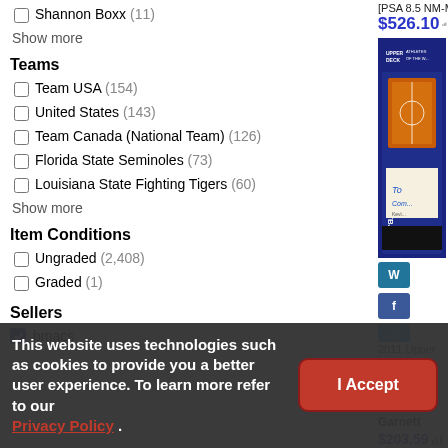Shannon Boxx (11)
Show more
Teams
Team USA (154)
United States (143)
Team Canada (National Team) (126)
Florida State Seminoles (73)
Louisiana State Fighting Tigers (60)
Show more
Item Conditions
Ungraded (2,408)
Graded (1)
Sellers
bmacs
[PSA 8.5 NM-MT+] #
$526.10
[Figure (photo): Trading card image - 2011 Upper Deck Athletes of the World basketball card]
2011 Upper Deck Athletes of the Wo...
Kevin Garnett
$203.59
This website uses technologies such as cookies to provide you a better user experience. To learn more refer to our Privacy Policy .